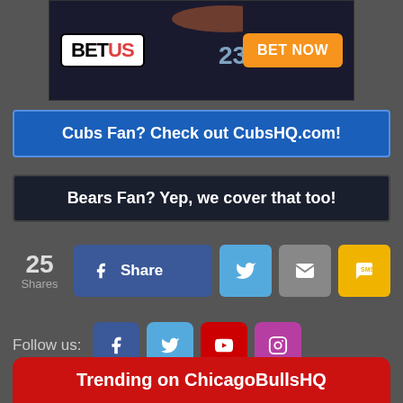[Figure (screenshot): BetUS advertisement banner with basketball player, BetUS logo and orange BET NOW button]
Cubs Fan? Check out CubsHQ.com!
Bears Fan? Yep, we cover that too!
25 Shares
Share
Follow us:
Trending on ChicagoBullsHQ